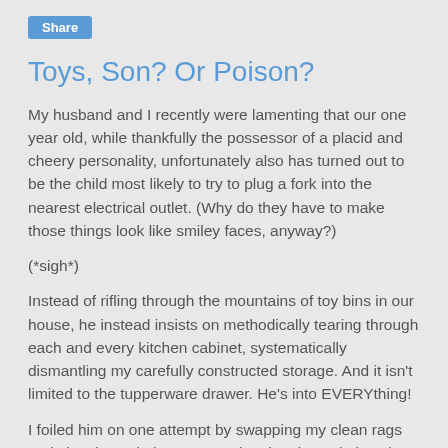Share
Toys, Son? Or Poison?
My husband and I recently were lamenting that our one year old, while thankfully the possessor of a placid and cheery personality, unfortunately also has turned out to be the child most likely to try to plug a fork into the nearest electrical outlet.  (Why do they have to make those things look like smiley faces, anyway?)
(*sigh*)
Instead of rifling through the mountains of toy bins in our house, he instead insists on methodically tearing through each and every kitchen cabinet, systematically dismantling my carefully constructed storage.  And it isn't limited to the tupperware drawer.  He's into EVERYthing!
I foiled him on one attempt by swapping my clean rags and cleaning solutions -- I put the cleaning solutions in an upper